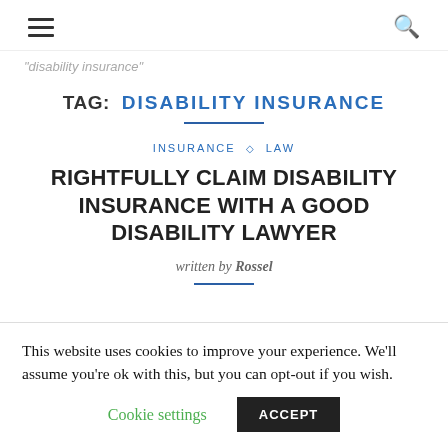☰  🔍
"disability insurance"
TAG:  DISABILITY INSURANCE
INSURANCE ◇ LAW
RIGHTFULLY CLAIM DISABILITY INSURANCE WITH A GOOD DISABILITY LAWYER
written by Rossel
This website uses cookies to improve your experience. We'll assume you're ok with this, but you can opt-out if you wish. Cookie settings  ACCEPT